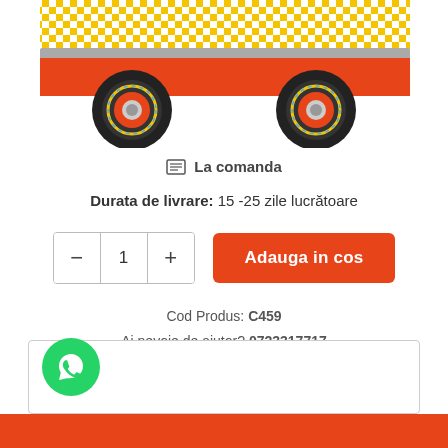[Figure (illustration): Bottom portion of a toy fire truck with black wheels, red chassis, yellow/checkered body visible at top]
☰ La comanda
Durata de livrare: 15 -25 zile lucrătoare
— 1 +  Adauga in cos
Cod Produs: C459
Ai nevoie de ajutor? 0723317717
♡ Adauga la Favorite   ✉ Cere informatii
[Figure (logo): WhatsApp green circular button with phone/chat icon]